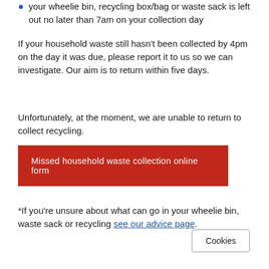your wheelie bin, recycling box/bag or waste sack is left out no later than 7am on your collection day
If your household waste still hasn't been collected by 4pm on the day it was due, please report it to us so we can investigate. Our aim is to return within five days.
Unfortunately, at the moment, we are unable to return to collect recycling.
Missed household waste collection online form
*If you're unsure about what can go in your wheelie bin, waste sack or recycling see our advice page.
Cookies